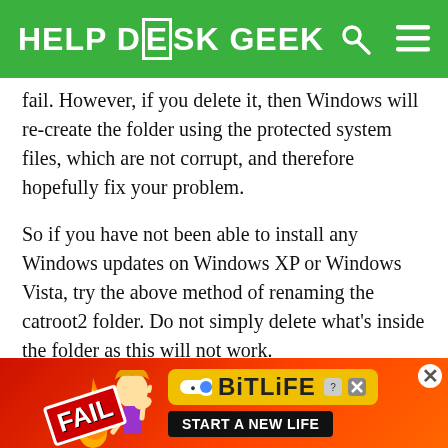HELP DESK GEEK
fail. However, if you delete it, then Windows will re-create the folder using the protected system files, which are not corrupt, and therefore hopefully fix your problem.
So if you have not been able to install any Windows updates on Windows XP or Windows Vista, try the above method of renaming the catroot2 folder. Do not simply delete what's inside the folder as this will not work.
Also, if you get an Access is Denied error when trying to delete catroot2, you have to make sure you are
[Figure (screenshot): BitLife advertisement banner with red/orange background, a cartoon blonde girl doing a facepalm, FAIL text, fire graphics, and BitLife logo with 'START A NEW LIFE' tagline]